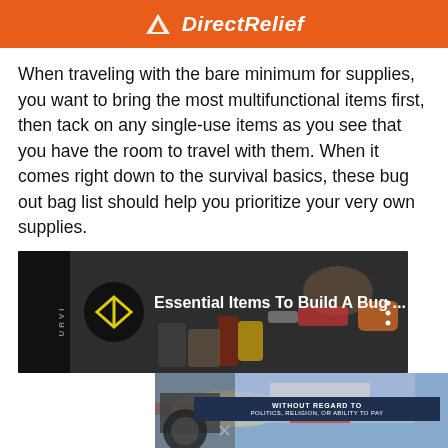[Figure (logo): Direct Relief logo on orange banner background]
When traveling with the bare minimum for supplies, you want to bring the most multifunctional items first, then tack on any single-use items as you see that you have the room to travel with them. When it comes right down to the survival basics, these bug out bag list should help you prioritize your very own supplies.
[Figure (screenshot): YouTube video thumbnail: Essential Items To Build A Bug ... with survival gear tools in background and channel logo]
[Figure (photo): Direct Relief advertisement banner showing airplane cargo loading with text WITHOUT REGARD TO POLITICS, RELIGION, OR ABILITY TO PAY]